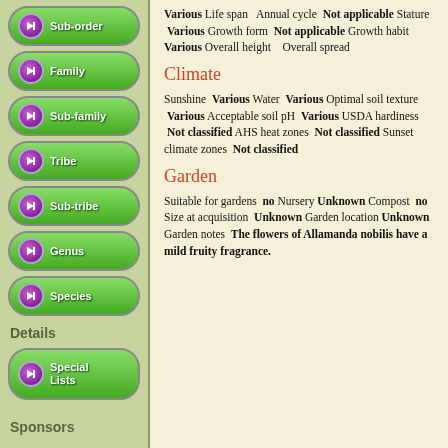Sub-order
Family
Sub-family
Tribe
Sub-tribe
Genus
Species
Details
Special Lists
Sponsors
Various Life span   Annual cycle  Not applicable Stature  Various Growth form  Not applicable Growth habit  Various Overall height    Overall spread
Climate
Sunshine  Various Water  Various Optimal soil texture  Various Acceptable soil pH  Various USDA hardiness  Not classified AHS heat zones  Not classified Sunset climate zones  Not classified
Garden
Suitable for gardens  no Nursery Unknown Compost  no Size at acquisition  Unknown Garden location Unknown Garden notes  The flowers of Allamanda nobilis have a mild fruity fragrance.